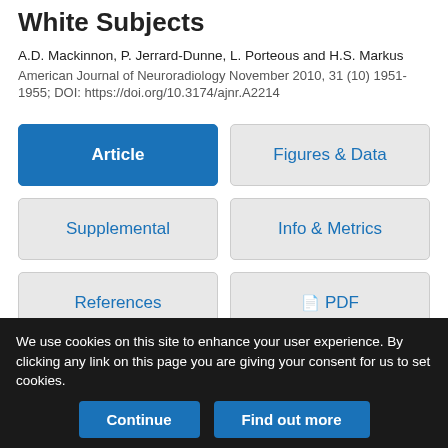White Subjects
A.D. Mackinnon, P. Jerrard-Dunne, L. Porteous and H.S. Markus
American Journal of Neuroradiology November 2010, 31 (10) 1951-1955; DOI: https://doi.org/10.3174/ajnr.A2214
Article
Figures & Data
Supplemental
Info & Metrics
References
PDF
We use cookies on this site to enhance your user experience. By clicking any link on this page you are giving your consent for us to set cookies.
Continue
Find out more